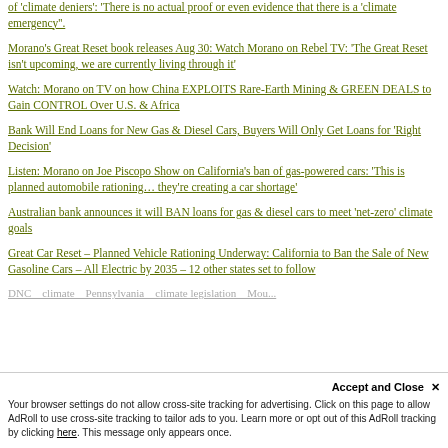of 'climate deniers': 'There is no actual proof or even evidence that there is a 'climate emergency".
Morano's Great Reset book releases Aug 30: Watch Morano on Rebel TV: 'The Great Reset isn't upcoming, we are currently living through it'
Watch: Morano on TV on how China EXPLOITS Rare-Earth Mining & GREEN DEALS to Gain CONTROL Over U.S. & Africa
Bank Will End Loans for New Gas & Diesel Cars, Buyers Will Only Get Loans for 'Right Decision'
Listen: Morano on Joe Piscopo Show on California's ban of gas-powered cars: 'This is planned automobile rationing… they're creating a car shortage'
Australian bank announces it will BAN loans for gas & diesel cars to meet 'net-zero' climate goals
Great Car Reset – Planned Vehicle Rationing Underway: California to Ban the Sale of New Gasoline Cars – All Electric by 2035 – 12 other states set to follow
(faded/partially visible link row)
Accept and Close ✕
Your browser settings do not allow cross-site tracking for advertising. Click on this page to allow AdRoll to use cross-site tracking to tailor ads to you. Learn more or opt out of this AdRoll tracking by clicking here. This message only appears once.